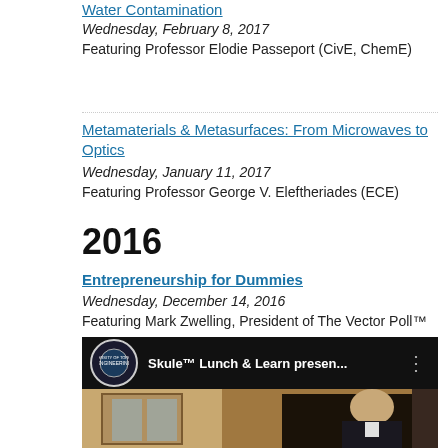Water Contamination
Wednesday, February 8, 2017
Featuring Professor Elodie Passeport (CivE, ChemE)
Metamaterials & Metasurfaces: From Microwaves to Optics
Wednesday, January 11, 2017
Featuring Professor George V. Eleftheriades (ECE)
2016
Entrepreneurship for Dummies
Wednesday, December 14, 2016
Featuring Mark Zwelling, President of The Vector Poll™
[Figure (screenshot): YouTube video thumbnail showing 'Skule™ Lunch & Learn presen...' with a University of Toronto Engineering logo and a man in a suit speaking at an event]